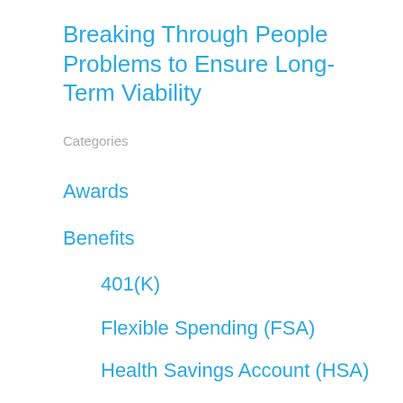Breaking Through People Problems to Ensure Long-Term Viability
Categories
Awards
Benefits
401(K)
Flexible Spending (FSA)
Health Savings Account (HSA)
Coronavirus
General Human Resources